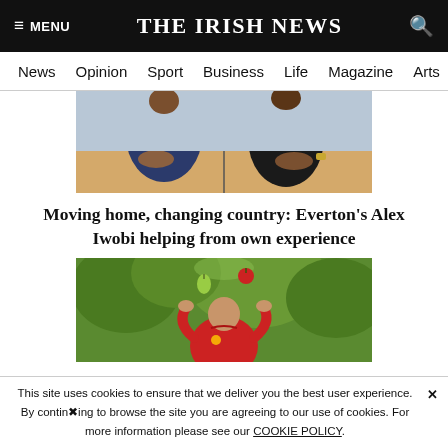≡ MENU   THE IRISH NEWS   🔍
News  Opinion  Sport  Business  Life  Magazine  Arts
[Figure (photo): Two people sitting at a table with hands clasped; one wearing a navy school sweatshirt with a logo, the other in a black t-shirt with a chain necklace.]
Moving home, changing country: Everton's Alex Iwobi helping from own experience
[Figure (photo): A man in a red polo shirt juggling fruits (a pear and an apple) outdoors with green trees in the background.]
This site uses cookies to ensure that we deliver you the best user experience. By continuing to browse the site you are agreeing to our use of cookies. For more information please see our COOKIE POLICY.